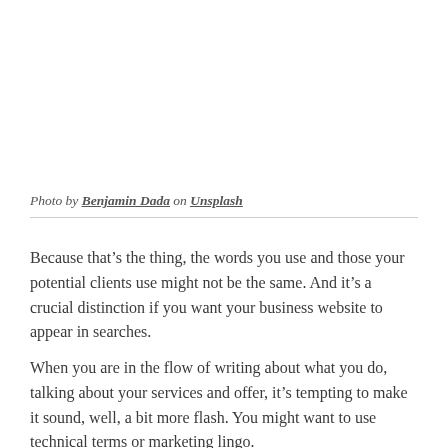Photo by Benjamin Dada on Unsplash
Because that’s the thing, the words you use and those your potential clients use might not be the same. And it’s a crucial distinction if you want your business website to appear in searches.
When you are in the flow of writing about what you do, talking about your services and offer, it’s tempting to make it sound, well, a bit more flash. You might want to use technical terms or marketing lingo.